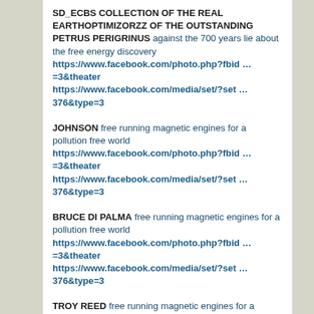SD_ECBS COLLECTION OF THE REAL EARTHOPTIMIZORZZ OF THE OUTSTANDING PETRUS PERIGRINUS against the 700 years lie about the free energy discovery https://www.facebook.com/photo.php?fbid … =3&theater https://www.facebook.com/media/set/?set … 376&type=3
JOHNSON free running magnetic engines for a pollution free world https://www.facebook.com/photo.php?fbid … =3&theater https://www.facebook.com/media/set/?set … 376&type=3
BRUCE DI PALMA free running magnetic engines for a pollution free world https://www.facebook.com/photo.php?fbid … =3&theater https://www.facebook.com/media/set/?set … 376&type=3
TROY REED free running magnetic engines for a pollution free world https://www.facebook.com/photo.php?fbid … =3&theater https://www.facebook.com/media/set/?set … 376&type=3